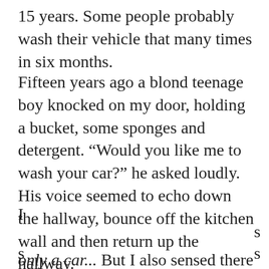15 years. Some people probably wash their vehicle that many times in six months.
Fifteen years ago a blond teenage boy knocked on my door, holding a bucket, some sponges and detergent. “Would you like me to wash your car?” he asked loudly. His voice seemed to echo down the hallway, bounce off the kitchen wall and then return up the hallway.
[Figure (screenshot): Cookie consent banner overlay. Text reads: 'Privacy & Cookies: This site uses cookies. By continuing to use this website, you agree to their use. To find out more, including how to control cookies, see here: Cookie Policy'. Button below reads 'Close and accept'.]
only a car... But I also sensed there was